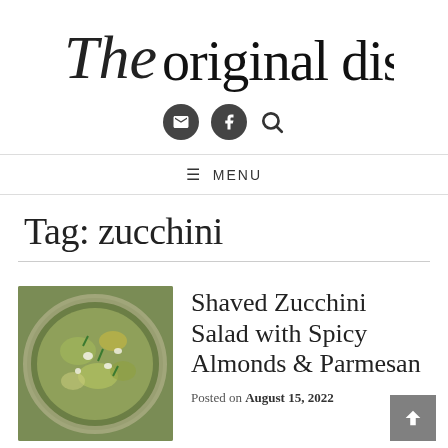The original dish
MENU
Tag: zucchini
[Figure (photo): Overhead photo of a shaved zucchini salad with spicy almonds and parmesan in a bowl]
Shaved Zucchini Salad with Spicy Almonds & Parmesan
Posted on August 15, 2022